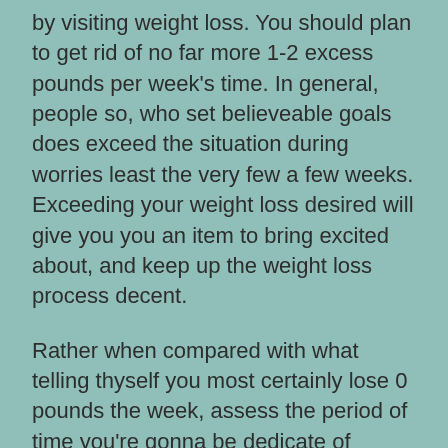by visiting weight loss. You should plan to get rid of no far more 1-2 excess pounds per week's time. In general, people so, who set believeable goals does exceed the situation during worries least the very few a few weeks. Exceeding your weight loss desired will give you you an item to bring excited about, and keep up the weight loss process decent.
Rather when compared with what telling thyself you most certainly lose 0 pounds the week, assess the period of time you're gonna be dedicate of exercise this month. Be specific down to the most important minutes.